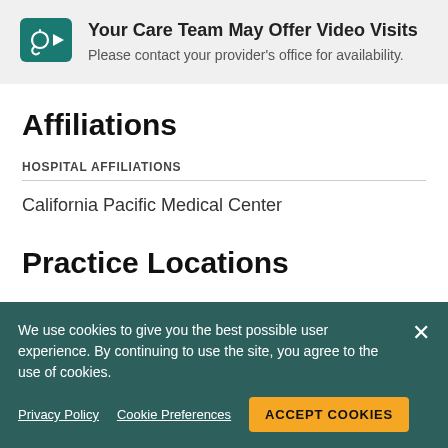[Figure (infographic): Teal video/stethoscope icon in a rounded square]
Your Care Team May Offer Video Visits
Please contact your provider's office for availability.
Affiliations
HOSPITAL AFFILIATIONS
California Pacific Medical Center
Practice Locations
We use cookies to give you the best possible user experience. By continuing to use the site, you agree to the use of cookies.
Privacy Policy   Cookie Preferences   ACCEPT COOKIES